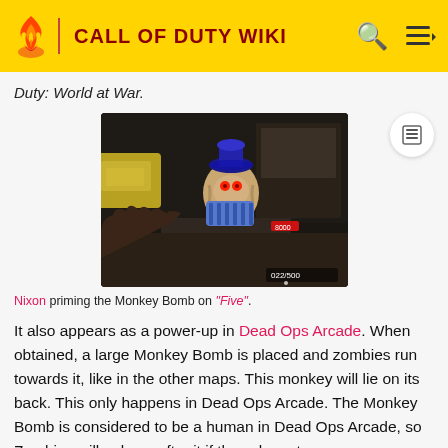CALL OF DUTY WIKI
Duty: World at War.
[Figure (screenshot): Nixon priming the Monkey Bomb on the map Five in Call of Duty: Black Ops. A stuffed monkey toy is visible in the center of the dark game scene.]
Nixon priming the Monkey Bomb on "Five".
It also appears as a power-up in Dead Ops Arcade. When obtained, a large Monkey Bomb is placed and zombies run towards it, like in the other maps. This monkey will lie on its back. This only happens in Dead Ops Arcade. The Monkey Bomb is considered to be a human in Dead Ops Arcade, so Zombies will only go after it if they closer to